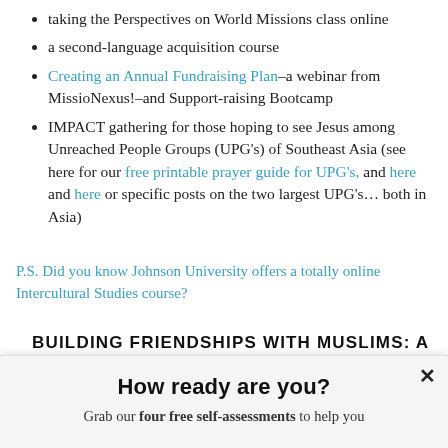taking the Perspectives on World Missions class online
a second-language acquisition course
Creating an Annual Fundraising Plan–a webinar from MissioNexus!–and Support-raising Bootcamp
IMPACT gathering for those hoping to see Jesus among Unreached People Groups (UPG's) of Southeast Asia (see here for our free printable prayer guide for UPG's, and here and here or specific posts on the two largest UPG's… both in Asia)
P.S. Did you know Johnson University offers a totally online Intercultural Studies course?
BUILDING FRIENDSHIPS WITH MUSLIMS: A $10 DVD COURSE
How ready are you?
Grab our four free self-assessments to help you